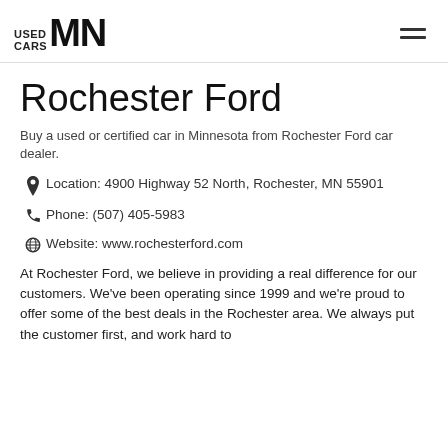USED CARS MN — navigation header with hamburger menu
Rochester Ford
Buy a used or certified car in Minnesota from Rochester Ford car dealer.
Location: 4900 Highway 52 North, Rochester, MN 55901
Phone: (507) 405-5983
Website: www.rochesterford.com
At Rochester Ford, we believe in providing a real difference for our customers. We've been operating since 1999 and we're proud to offer some of the best deals in the Rochester area. We always put the customer first, and work hard to